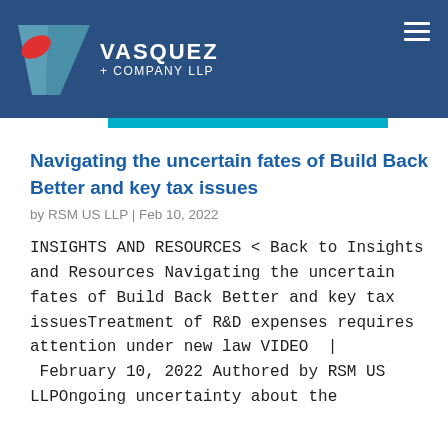[Figure (logo): Vasquez + Company LLP logo with a teal/red V mark and white text on a dark blue background header bar]
Navigating the uncertain fates of Build Back Better and key tax issues
by RSM US LLP | Feb 10, 2022
INSIGHTS AND RESOURCES < Back to Insights and Resources Navigating the uncertain fates of Build Back Better and key tax issuesTreatment of R&D expenses requires attention under new law VIDEO | February 10, 2022 Authored by RSM US LLPOngoing uncertainty about the